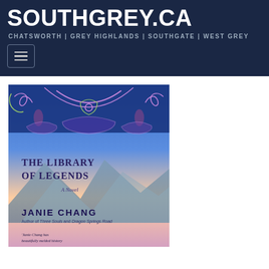SouthGrey.ca — CHATSWORTH | GREY HIGHLANDS | SOUTHGATE | WEST GREY
[Figure (screenshot): Navigation hamburger menu button on dark navy background]
[Figure (photo): Book cover of 'The Library of Legends' by Janie Chang — A Novel. Author of Three Souls and Dragon Springs Road. Blue ornate cover with mountains and decorative floral patterns in purple and green. Subtitle quote: 'Janie Chang has beautifully melded history']